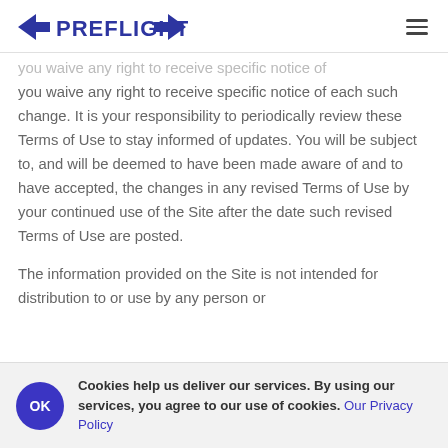PREFLIGHT
you waive any right to receive specific notice of each such change. It is your responsibility to periodically review these Terms of Use to stay informed of updates. You will be subject to, and will be deemed to have been made aware of and to have accepted, the changes in any revised Terms of Use by your continued use of the Site after the date such revised Terms of Use are posted.
The information provided on the Site is not intended for distribution to or use by any person or
Cookies help us deliver our services. By using our services, you agree to our use of cookies. Our Privacy Policy